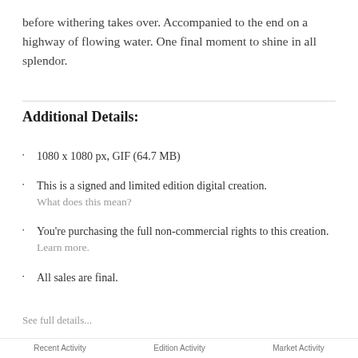before withering takes over. Accompanied to the end on a highway of flowing water. One final moment to shine in all splendor.
Additional Details:
1080 x 1080 px, GIF (64.7 MB)
This is a signed and limited edition digital creation.
What does this mean?
You're purchasing the full non-commercial rights to this creation.
Learn more.
All sales are final.
See full details...
Recent Activity    Edition Activity    Market Activity